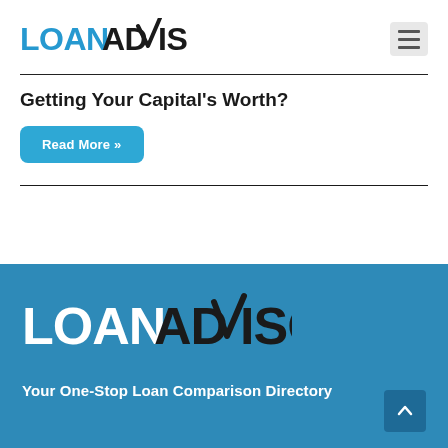[Figure (logo): LoanAdvisor logo in dark text with blue checkmark in ADVISOR text, top navigation bar]
Getting Your Capital’s Worth?
Read More »
[Figure (logo): LoanAdvisor logo in white/light text on blue background, footer section]
Your One-Stop Loan Comparison Directory